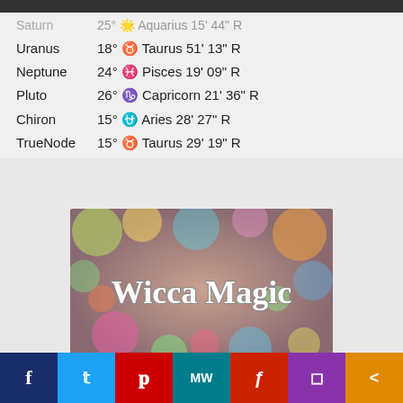Saturn  25° Aquarius 15' 44" R
Uranus  18° Taurus 51' 13" R
Neptune  24° Pisces 19' 09" R
Pluto  26° Capricorn 21' 36" R
Chiron  15° Aries 28' 27" R
TrueNode  15° Taurus 29' 19" R
[Figure (photo): Colorful bokeh lights background with text 'Wicca Magic' in white outlined serif font]
Social share bar: Facebook, Twitter, Pinterest, MagicWitch, Flipboard, Instagram, Share